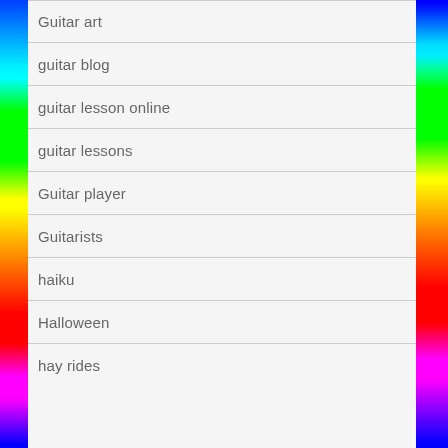Guitar art
guitar blog
guitar lesson online
guitar lessons
Guitar player
Guitarists
haiku
Halloween
hay rides